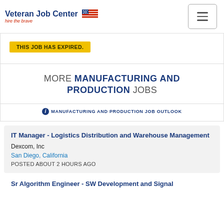Veteran Job Center - hire the brave
THIS JOB HAS EXPIRED.
MORE MANUFACTURING AND PRODUCTION JOBS
MANUFACTURING AND PRODUCTION JOB OUTLOOK
IT Manager - Logistics Distribution and Warehouse Management
Dexcom, Inc
San Diego, California
POSTED ABOUT 2 HOURS AGO
Sr Algorithm Engineer - SW Development and Signal